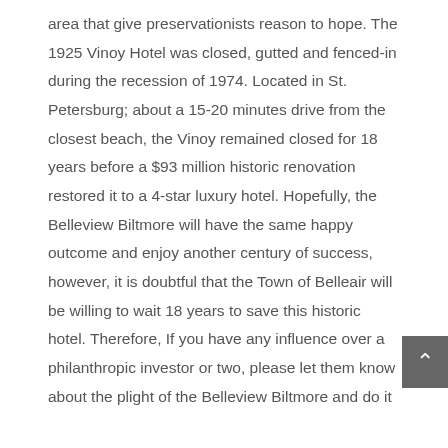area that give preservationists reason to hope. The 1925 Vinoy Hotel was closed, gutted and fenced-in during the recession of 1974. Located in St. Petersburg; about a 15-20 minutes drive from the closest beach, the Vinoy remained closed for 18 years before a $93 million historic renovation restored it to a 4-star luxury hotel. Hopefully, the Belleview Biltmore will have the same happy outcome and enjoy another century of success, however, it is doubtful that the Town of Belleair will be willing to wait 18 years to save this historic hotel. Therefore, If you have any influence over a philanthropic investor or two, please let them know about the plight of the Belleview Biltmore and do it